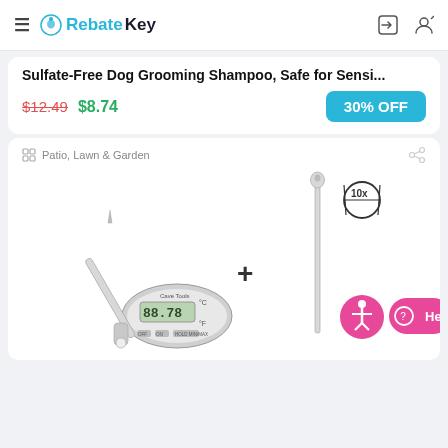RebateKey
Sulfate-Free Dog Grooming Shampoo, Safe for Sensi...
$12.49 $8.74
30% OFF
Patio, Lawn & Garden
[Figure (photo): Cave Tools digital meat thermometer with probe, plus a separate longer probe marked 10x, connected with a plus sign]